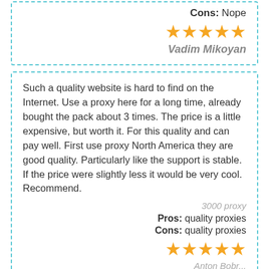Cons: Nope
[Figure (other): 5 gold stars rating]
Vadim Mikoyan
Such a quality website is hard to find on the Internet. Use a proxy here for a long time, already bought the pack about 3 times. The price is a little expensive, but worth it. For this quality and can pay well. First use proxy North America they are good quality. Particularly like the support is stable. If the price were slightly less it would be very cool. Recommend.
3000 proxy
Pros: quality proxies
Cons: quality proxies
[Figure (other): 5 gold stars rating]
Anton Bobr...